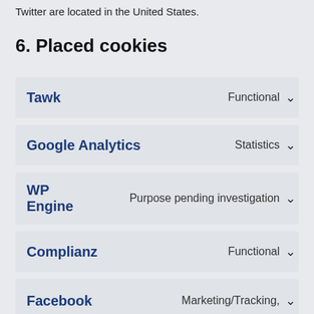Twitter are located in the United States.
6. Placed cookies
Tawk — Functional
Google Analytics — Statistics
WP Engine — Purpose pending investigation
Complianz — Functional
Google Maps — Marketing/Tracking
Facebook — Marketing/Tracking,